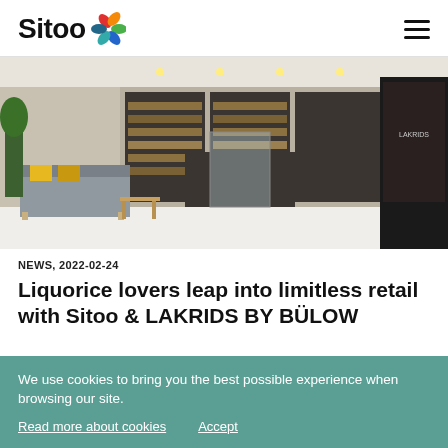Sitoo
[Figure (photo): Interior of a modern liquorice retail store (LAKRIDS BY BÜLOW) showing product shelves, display cases, a gray sofa with yellow cushions, and a large dark digital display panel on the right.]
NEWS, 2022-02-24
Liquorice lovers leap into limitless retail with Sitoo & LAKRIDS BY BÜLOW
We use cookies to bring you the best possible experience when browsing our site.
Read more about cookies   Accept